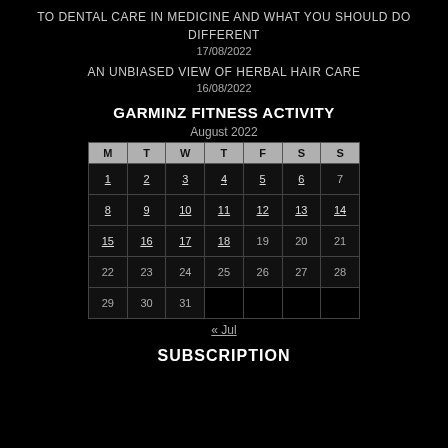TO DENTAL CARE IN MEDICINE AND WHAT YOU SHOULD DO DIFFERENT
17/08/2022
AN UNBIASED VIEW OF HERBAL HAIR CARE
16/08/2022
GARMINZ FITNESS ACTIVITY
August 2022
| M | T | W | T | F | S | S |
| --- | --- | --- | --- | --- | --- | --- |
| 1 | 2 | 3 | 4 | 5 | 6 | 7 |
| 8 | 9 | 10 | 11 | 12 | 13 | 14 |
| 15 | 16 | 17 | 18 | 19 | 20 | 21 |
| 22 | 23 | 24 | 25 | 26 | 27 | 28 |
| 29 | 30 | 31 |  |  |  |  |
« Jul
SUBSCRIPTION